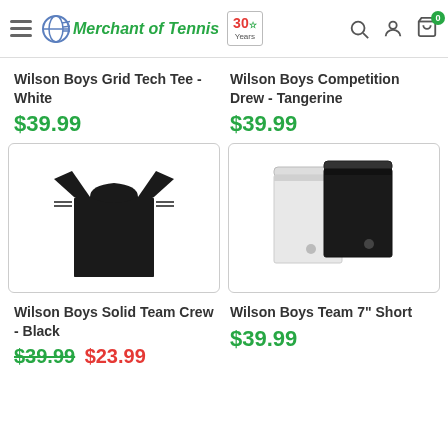Merchant of Tennis — 30 Years
Wilson Boys Grid Tech Tee - White
$39.99
Wilson Boys Competition Drew - Tangerine
$39.99
[Figure (photo): Wilson Boys Solid Team Crew black t-shirt on white background]
[Figure (photo): Wilson Boys Team 7 inch shorts in white and black on white background]
Wilson Boys Solid Team Crew - Black
$39.99 $23.99 (sale)
Wilson Boys Team 7" Short
$39.99